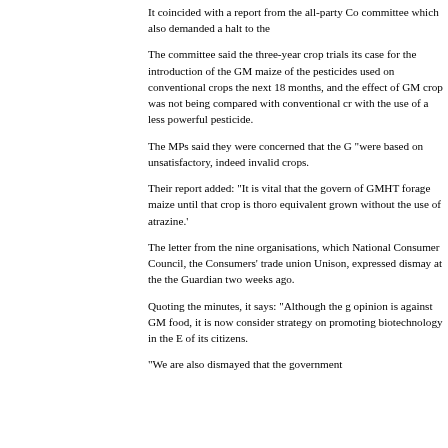It coincided with a report from the all-party Co committee which also demanded a halt to the
The committee said the three-year crop trials its case for the introduction of the GM maize of the pesticides used on conventional crops the next 18 months, and the effect of GM crop was not being compared with conventional cr with the use of a less powerful pesticide.
The MPs said they were concerned that the G "were based on unsatisfactory, indeed invalid crops.
Their report added: "It is vital that the govern of GMHT forage maize until that crop is thoro equivalent grown without the use of atrazine.'
The letter from the nine organisations, which National Consumer Council, the Consumers' trade union Unison, expressed dismay at the the Guardian two weeks ago.
Quoting the minutes, it says: "Although the g opinion is against GM food, it is now consider strategy on promoting biotechnology in the E of its citizens.
"We are also dismayed that the government